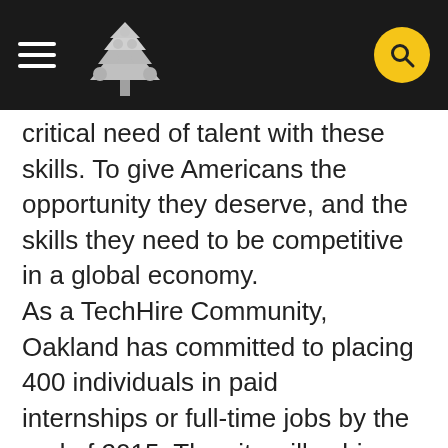[Navigation header with hamburger menu, tree logo, and search button]
critical need of talent with these skills. To give Americans the opportunity they deserve, and the skills they need to be competitive in a global economy. As a TechHire Community, Oakland has committed to placing 400 individuals in paid internships or full-time jobs by the end of 2015. The city will achieve this commitment through several accelerated pathways. “I am pleased to see Oakland become a TechHire Community. The city’s commitment to empowering people with work based on